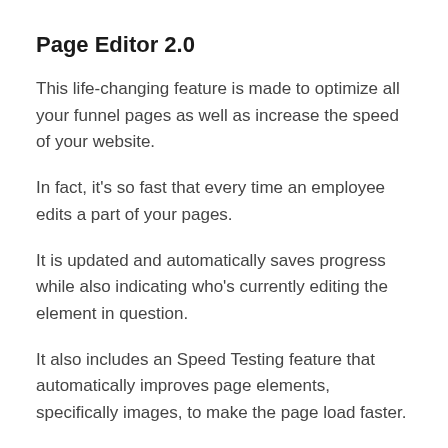Page Editor 2.0
This life-changing feature is made to optimize all your funnel pages as well as increase the speed of your website.
In fact, it's so fast that every time an employee edits a part of your pages.
It is updated and automatically saves progress while also indicating who's currently editing the element in question.
It also includes an Speed Testing feature that automatically improves page elements, specifically images, to make the page load faster.